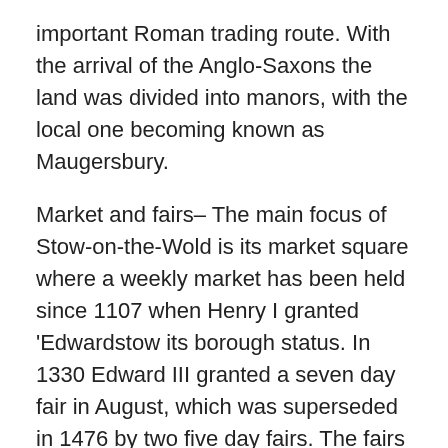important Roman trading route. With the arrival of the Anglo-Saxons the land was divided into manors, with the local one becoming known as Maugersbury.
Market and fairs– The main focus of Stow-on-the-Wold is its market square where a weekly market has been held since 1107 when Henry I granted 'Edwardstow its borough status. In 1330 Edward III granted a seven day fair in August, which was superseded in 1476 by two five day fairs. The fairs were famous for the sale of wool and sheep with Daniel Defoe observing that as many as 20000 sheep were sold on any one day. Stow-on-the-Wold quickly become an important market town with the high quality of the local fleece being revered throughout Europe. The local limestone was ideal for farming sheep and you can see the narrow lanes or 'lures' leading away from the market square that were used to lead the sheep away fro the